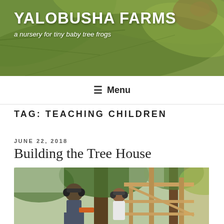YALOBUSHA FARMS
a nursery for tiny baby tree frogs
≡ Menu
TAG: TEACHING CHILDREN
JUNE 22, 2018
Building the Tree House
[Figure (photo): A man and a child wearing ear protection working together to build a wooden tree house structure, surrounded by trees.]